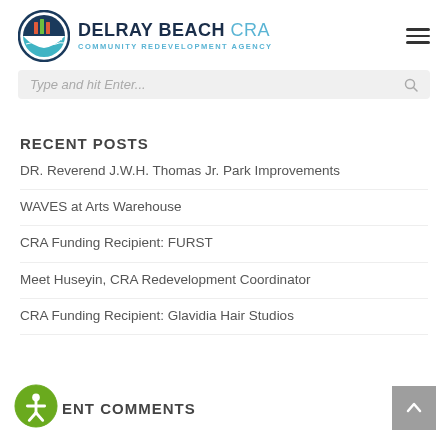[Figure (logo): Delray Beach CRA Community Redevelopment Agency logo with circular emblem and text]
Type and hit Enter...
RECENT POSTS
DR. Reverend J.W.H. Thomas Jr. Park Improvements
WAVES at Arts Warehouse
CRA Funding Recipient: FURST
Meet Huseyin, CRA Redevelopment Coordinator
CRA Funding Recipient: Glavidia Hair Studios
RECENT COMMENTS